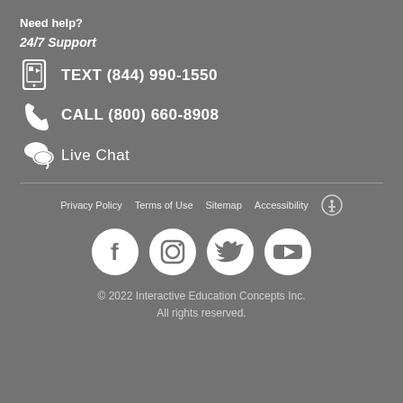Need help?
24/7 Support
TEXT (844) 990-1550
CALL (800) 660-8908
Live Chat
Privacy Policy   Terms of Use   Sitemap   Accessibility
[Figure (infographic): Social media icons: Facebook, Instagram, Twitter, YouTube]
© 2022 Interactive Education Concepts Inc. All rights reserved.